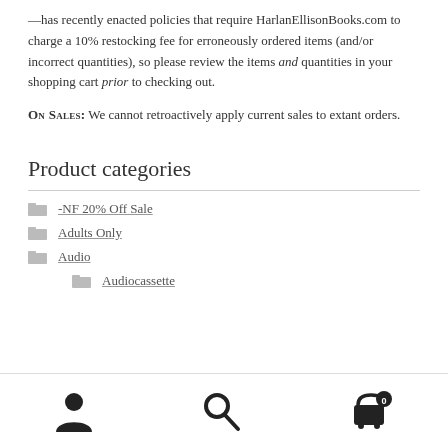—has recently enacted policies that require HarlanEllisonBooks.com to charge a 10% restocking fee for erroneously ordered items (and/or incorrect quantities), so please review the items and quantities in your shopping cart prior to checking out.
ON SALES: We cannot retroactively apply current sales to extant orders.
Product categories
-NF 20% Off Sale
Adults Only
Audio
Audiocassette
User / Search / Cart (0)